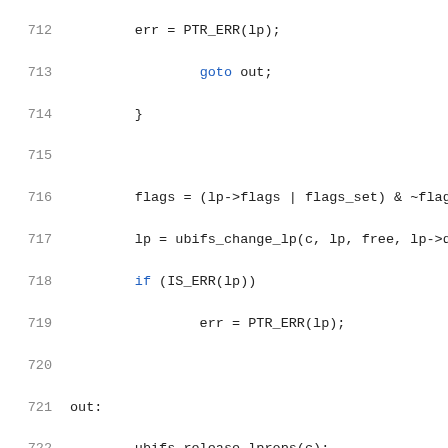[Figure (screenshot): Source code listing lines 712-733 of a C file showing UBIFS kernel code. Lines show error handling with PTR_ERR, goto out, flag manipulation, ubifs_change_lp call, IS_ERR check, ubifs_release_lprops, ubifs_err call, return statement, closing brace, and start of a doxygen comment block for ubifs_read_one_lp function.]